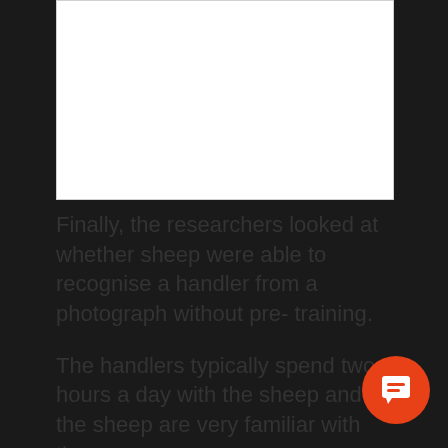[Figure (other): White rectangular box at top of page, likely containing an image that is cropped/not visible]
Finally, the researchers looked at whether sheep were able to recognise a handler from a photograph without pre- training.
The handlers typically spend two hours a day with the sheep and so the sheep are very familiar with them.
When a portrait photograph of the handler was interspersed randomly in place of the celebrity, the sheep chose handler's photograph over the unfamiliar